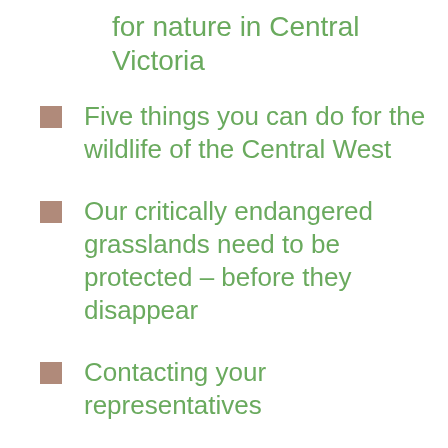for nature in Central Victoria
Five things you can do for the wildlife of the Central West
Our critically endangered grasslands need to be protected – before they disappear
Contacting your representatives